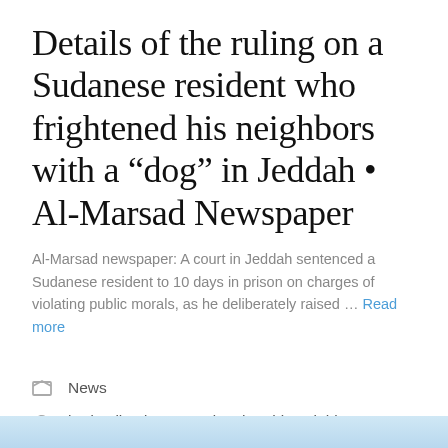Details of the ruling on a Sudanese resident who frightened his neighbors with a “dog” in Jeddah • Al-Marsad Newspaper
Al-Marsad newspaper: A court in Jeddah sentenced a Sudanese resident to 10 days in prison on charges of violating public morals, as he deliberately raised … Read more
News
b, details, dog, Grandmother, his neighbors, I’m afraid, in, judgment, on me, Resident, Sudanese